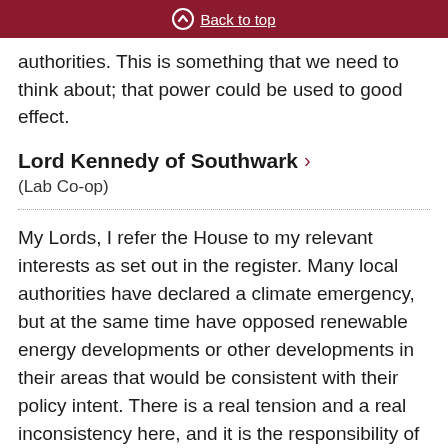Back to top
authorities. This is something that we need to think about; that power could be used to good effect.
Lord Kennedy of Southwark
(Lab Co-op)
My Lords, I refer the House to my relevant interests as set out in the register. Many local authorities have declared a climate emergency, but at the same time have opposed renewable energy developments or other developments in their areas that would be consistent with their policy intent. There is a real tension and a real inconsistency here, and it is the responsibility of the Government to deal with that. Does the noble Lord agree on that point and, if he does, what plans does he have to deal